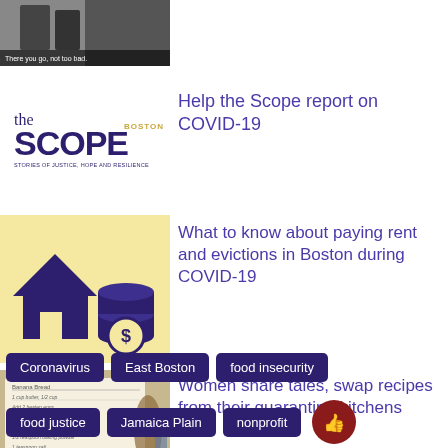[Figure (screenshot): Video thumbnail showing two people, with subtitle text 'There you go, not too bad.']
[Figure (logo): The Scope Boston logo - Stories of Justice, Hope and Resilience]
Help the Scope report on COVID-19
[Figure (illustration): Yellow background with dark blue house and coin stack icons with dollar sign]
What to know about paying rent and evictions in Boston during COVID-19
[Figure (photo): Recipe card with handwritten text, vegetables and bread in background]
Women share tales, swap recipes from their quarantine kitchens
Coronavirus
East Boston
food insecurity
food justice
Jamaica Plain
nonprofit